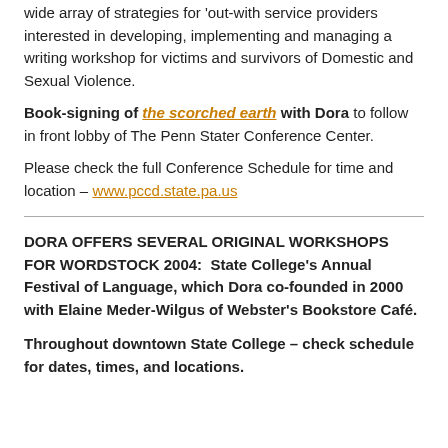wide array of strategies for 'out-with service providers interested in developing, implementing and managing a writing workshop for victims and survivors of Domestic and Sexual Violence.
Book-signing of the scorched earth with Dora to follow in front lobby of The Penn Stater Conference Center.
Please check the full Conference Schedule for time and location – www.pccd.state.pa.us
DORA OFFERS SEVERAL ORIGINAL WORKSHOPS FOR WORDSTOCK 2004:  State College's Annual Festival of Language, which Dora co-founded in 2000 with Elaine Meder-Wilgus of Webster's Bookstore Café.
Throughout downtown State College – check schedule for dates, times, and locations.